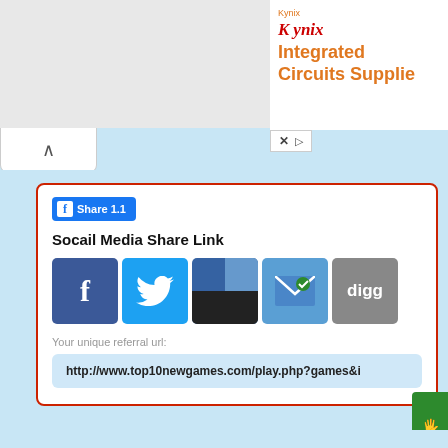[Figure (screenshot): Kynix advertisement banner with logo and 'Integrated Circuits Supplier' text in orange]
[Figure (screenshot): Chevron/up-arrow collapse button tab]
Share 1.1
Socail Media Share Link
[Figure (screenshot): Social media share icons: Facebook, Twitter, Delicious, Email, Digg]
Your unique referral url:
http://www.top10newgames.com/play.php?games&i
[Figure (screenshot): Green Donate button on right side]
[Figure (screenshot): Bottom section with game thumbnails on light blue background]